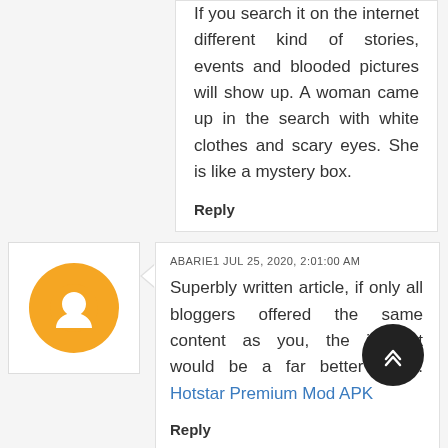If you search it on the internet different kind of stories, events and blooded pictures will show up. A woman came up in the search with white clothes and scary eyes. She is like a mystery box.
Reply
ABARIE1 JUL 25, 2020, 2:01:00 AM
Superbly written article, if only all bloggers offered the same content as you, the internet would be a far better place. Hotstar Premium Mod APK
Reply
To leave a comment, click the button below to sign in with Google.